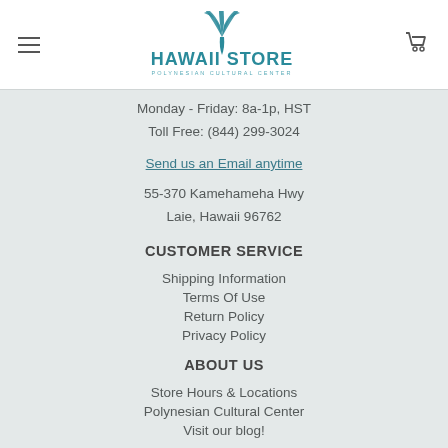[Figure (logo): Hawaii Store Polynesian Cultural Center logo with palm tree illustration]
Monday - Friday: 8a-1p, HST
Toll Free: (844) 299-3024
Send us an Email anytime
55-370 Kamehameha Hwy
Laie, Hawaii 96762
CUSTOMER SERVICE
Shipping Information
Terms Of Use
Return Policy
Privacy Policy
ABOUT US
Store Hours & Locations
Polynesian Cultural Center
Visit our blog!